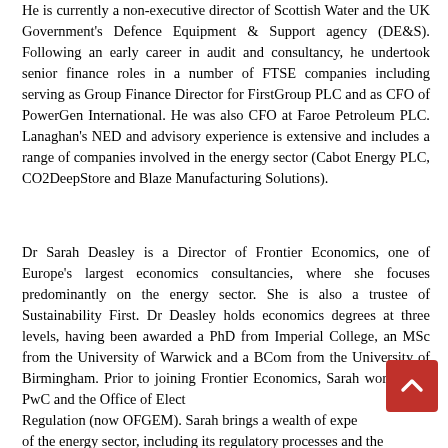He is currently a non-executive director of Scottish Water and the UK Government's Defence Equipment & Support agency (DE&S). Following an early career in audit and consultancy, he undertook senior finance roles in a number of FTSE companies including serving as Group Finance Director for FirstGroup PLC and as CFO of PowerGen International. He was also CFO at Faroe Petroleum PLC. Lanaghan's NED and advisory experience is extensive and includes a range of companies involved in the energy sector (Cabot Energy PLC, CO2DeepStore and Blaze Manufacturing Solutions).
Dr Sarah Deasley is a Director of Frontier Economics, one of Europe's largest economics consultancies, where she focuses predominantly on the energy sector. She is also a trustee of Sustainability First. Dr Deasley holds economics degrees at three levels, having been awarded a PhD from Imperial College, an MSc from the University of Warwick and a BCom from the University of Birmingham. Prior to joining Frontier Economics, Sarah worked for PwC and the Office of Electricity Regulation (now OFGEM). Sarah brings a wealth of experience of the energy sector, including its regulatory processes and the